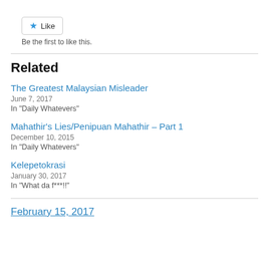Like
Be the first to like this.
Related
The Greatest Malaysian Misleader
June 7, 2017
In "Daily Whatevers"
Mahathir's Lies/Penipuan Mahathir – Part 1
December 10, 2015
In "Daily Whatevers"
Kelepetokrasi
January 30, 2017
In "What da f***!!"
February 15, 2017